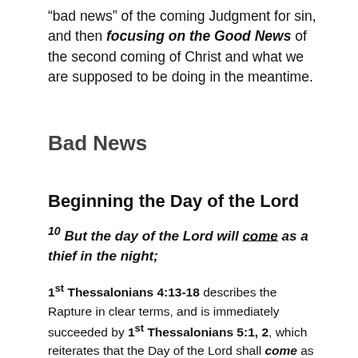“bad news” of the coming Judgment for sin, and then focusing on the Good News of the second coming of Christ and what we are supposed to be doing in the meantime.
Bad News
Beginning the Day of the Lord
10 But the day of the Lord will come as a thief in the night;
1st Thessalonians 4:13-18 describes the Rapture in clear terms, and is immediately succeeded by 1st Thessalonians 5:1, 2, which reiterates that the Day of the Lord shall come as a thief in the night. And immediately thereafter, it begins describing the